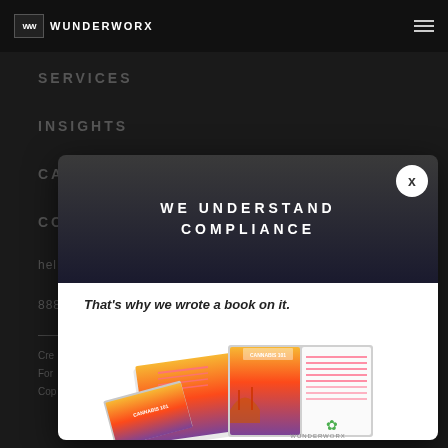WUNDERWORX
SERVICES
INSIGHTS
CA
CO
hel
888
Cre
For
Cop
[Figure (screenshot): Modal popup with dark gradient top section showing 'WE UNDERSTAND COMPLIANCE' in white uppercase letters with a close (X) button, and white bottom section showing 'That's why we wrote a book on it.' with images of a book featuring cannabis compliance content.]